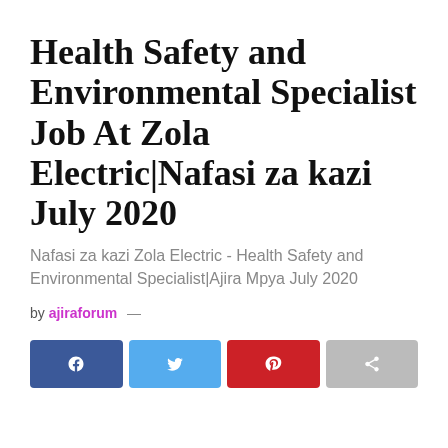Health Safety and Environmental Specialist Job At Zola Electric|Nafasi za kazi July 2020
Nafasi za kazi Zola Electric - Health Safety and Environmental Specialist|Ajira Mpya July 2020
by ajiraforum —
[Figure (infographic): Social share buttons: Facebook (blue), Twitter (light blue), Pinterest (red), Share (gray)]